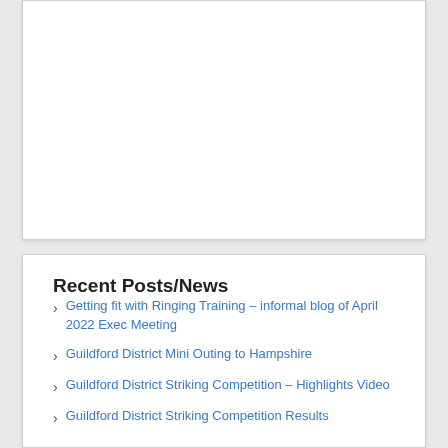[Figure (other): White content card area, mostly blank/empty, top portion of page]
Recent Posts/News
Getting fit with Ringing Training – informal blog of April 2022 Exec Meeting
Guildford District Mini Outing to Hampshire
Guildford District Striking Competition – Highlights Video
Guildford District Striking Competition Results